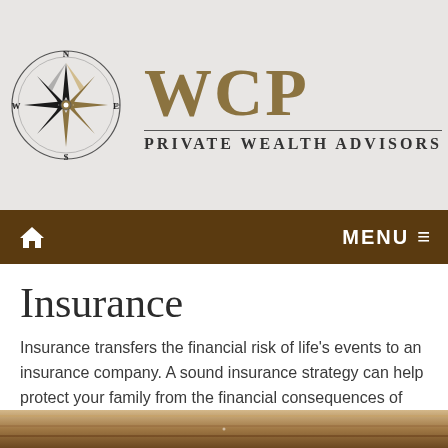[Figure (logo): WCP Private Wealth Advisors logo with compass rose on grey background]
Home  MENU ≡
Insurance
Insurance transfers the financial risk of life's events to an insurance company. A sound insurance strategy can help protect your family from the financial consequences of those events. A strategy can include personal insurance, liability insurance, and life insurance.
[Figure (photo): Partial photo visible at bottom of page]